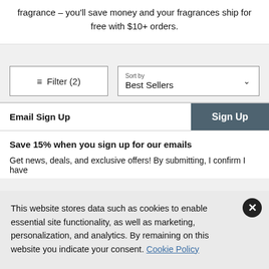fragrance – you'll save money and your fragrances ship for free with $10+ orders.
[Figure (screenshot): Filter and Sort By controls: a Filter (2) button and a Sort by Best Sellers dropdown]
[Figure (screenshot): Email Sign Up input bar with Sign Up button]
Save 15% when you sign up for our emails
Get news, deals, and exclusive offers! By submitting, I confirm I have
This website stores data such as cookies to enable essential site functionality, as well as marketing, personalization, and analytics. By remaining on this website you indicate your consent. Cookie Policy